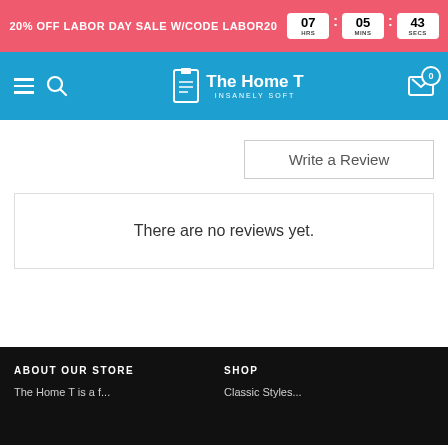20% OFF LABOR DAY SALE W/CODE LABOR20 | 07 HRS : 05 MINS : 43 SECS
[Figure (screenshot): Navigation bar with hamburger menu, search icon, The Home T logo, and cart icon with badge 0]
Write a Review
There are no reviews yet.
ABOUT OUR STORE | SHOP